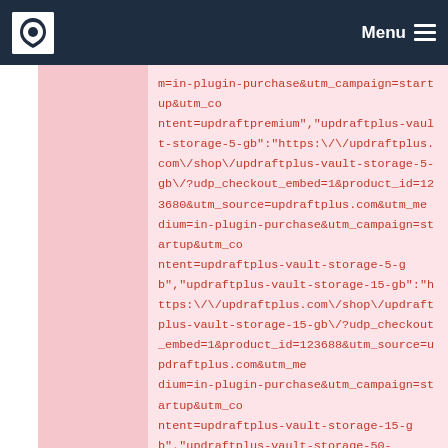Menu
m=in-plugin-purchase&utm_campaign=startup&utm_content=updraftpremium","updraftplus-vault-storage-5-gb":"https:\/\/updraftplus.com\/shop\/updraftplus-vault-storage-5-gb\/?udp_checkout_embed=1&product_id=123680&utm_source=updraftplus.com&utm_medium=in-plugin-purchase&utm_campaign=startup&utm_content=updraftplus-vault-storage-5-gb","updraftplus-vault-storage-15-gb":"https:\/\/updraftplus.com\/shop\/updraftplus-vault-storage-15-gb\/?udp_checkout_embed=1&product_id=123688&utm_source=updraftplus.com&utm_medium=in-plugin-purchase&utm_campaign=startup&utm_content=updraftplus-vault-storage-15-gb","updraftplus-vault-storage-50-